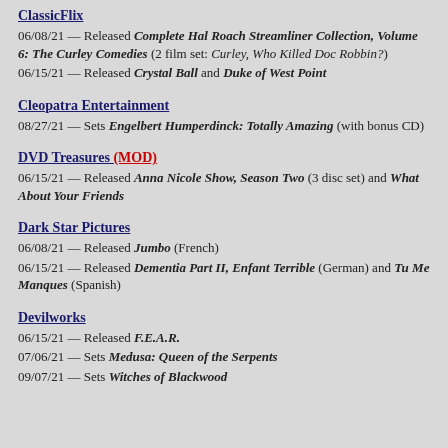ClassicFlix
06/08/21 — Released Complete Hal Roach Streamliner Collection, Volume 6: The Curley Comedies (2 film set: Curley, Who Killed Doc Robbin?)
06/15/21 — Released Crystal Ball and Duke of West Point
Cleopatra Entertainment
08/27/21 — Sets Engelbert Humperdinck: Totally Amazing (with bonus CD)
DVD Treasures (MOD)
06/15/21 — Released Anna Nicole Show, Season Two (3 disc set) and What About Your Friends
Dark Star Pictures
06/08/21 — Released Jumbo (French)
06/15/21 — Released Dementia Part II, Enfant Terrible (German) and Tu Me Manques (Spanish)
Devilworks
06/15/21 — Released F.E.A.R.
07/06/21 — Sets Medusa: Queen of the Serpents
09/07/21 — Sets Witches of Blackwood